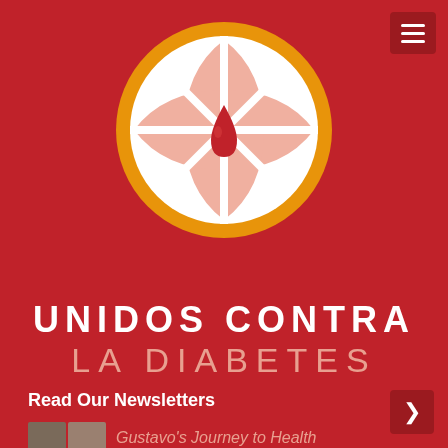[Figure (logo): Circular orange and white logo resembling a citrus fruit slice with a red blood drop in the center, on a red background]
UNIDOS CONTRA LA DIABETES
Read Our Newsletters
Gustavo's Journey to Health